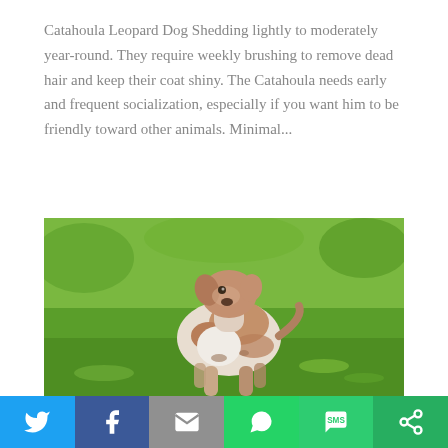Catahoula Leopard Dog Shedding lightly to moderately year-round. They require weekly brushing to remove dead hair and keep their coat shiny. The Catahoula needs early and frequent socialization, especially if you want him to be friendly toward other animals. Minimal...
[Figure (photo): A Catahoula Leopard Dog standing on green grass, looking toward the camera. The dog has a white and brown/merle coat pattern.]
[Figure (infographic): Social sharing bar with icons for Twitter, Facebook, Email, WhatsApp, SMS, and More (share) options on colored backgrounds.]